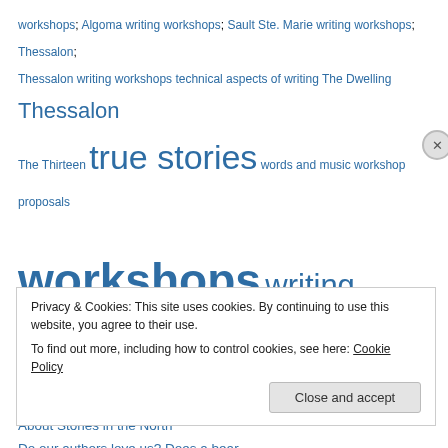workshops; Algoma writing workshops; Sault Ste. Marie writing workshops; Thessalon; Thessalon writing workshops technical aspects of writing The Dwelling Thessalon The Thirteen true stories words and music workshop proposals workshops writing contest writing humour
Pages
About Stories in the North
Do our authors love us? Does a bear…
National Novel Writing Month Schedule
Open Mike – information and registration
Privacy & Cookies: This site uses cookies. By continuing to use this website, you agree to their use. To find out more, including how to control cookies, see here: Cookie Policy
Close and accept